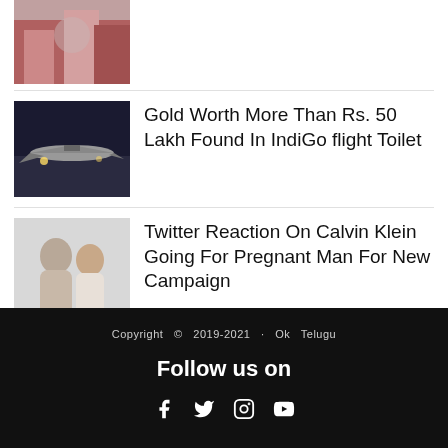[Figure (photo): Sports celebration photo - partially visible at top]
[Figure (photo): IndiGo airplane on tarmac at night]
Gold Worth More Than Rs. 50 Lakh Found In IndiGo flight Toilet
[Figure (photo): A couple posing together for Calvin Klein campaign]
Twitter Reaction On Calvin Klein Going For Pregnant Man For New Campaign
Copyright © 2019-2021 · Ok Telugu
Follow us on